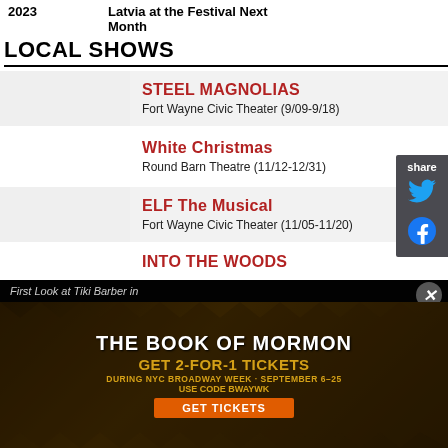2023
Latvia at the Festival Next Month
LOCAL SHOWS
STEEL MAGNOLIAS
Fort Wayne Civic Theater (9/09-9/18)
White Christmas
Round Barn Theatre (11/12-12/31)
ELF The Musical
Fort Wayne Civic Theater (11/05-11/20)
INTO THE WOODS
[Figure (screenshot): Advertisement for The Book of Mormon musical showing 2-for-1 ticket offer during NYC Broadway Week September 6-25, use code BWAYWK]
First Look at Tiki Barber in